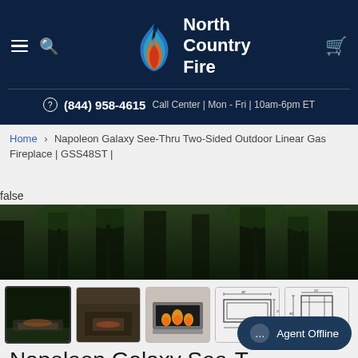North Country Fire — (844) 958-4615 Call Center | Mon - Fri | 10am-6pm ET
Home > Napoleon Galaxy See-Thru Two-Sided Outdoor Linear Gas Fireplace | GSS48ST |
false
[Figure (photo): Outdoor fireplace product main hero image showing dark forest/trees background]
[Figure (photo): Thumbnail 1: Outdoor patio fireplace at night (selected)]
[Figure (photo): Thumbnail 2: Indoor room with fireplace]
[Figure (photo): Thumbnail 3: Front view of linear gas fireplace with flames]
[Figure (engineering-diagram): Thumbnail 4: Technical dimension diagram front view]
[Figure (engineering-diagram): Thumbnail 5: Technical dimension diagram side view]
Napoleon Galaxy See-Thru Two-Sided Outdoor Linear Gas Fire...